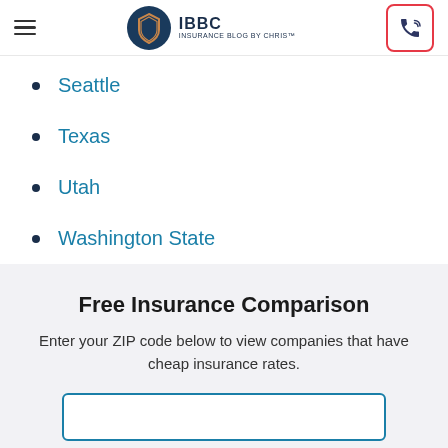IBBC INSURANCE BLOG BY CHRIS™
Seattle
Texas
Utah
Washington State
Free Insurance Comparison
Enter your ZIP code below to view companies that have cheap insurance rates.